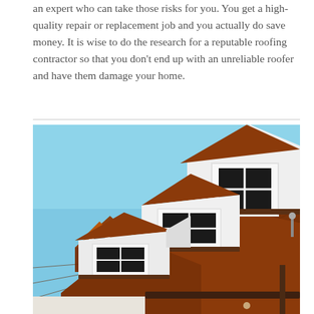an expert who can take those risks for you. You get a high-quality repair or replacement job and you actually do save money. It is wise to do the research for a reputable roofing contractor so that you don't end up with an unreliable roofer and have them damage your home.
[Figure (photo): Photograph of residential rooftops with brown/terracotta roof tiles, white dormer windows with white trim and black window frames, gutters, and a clear blue sky in the background. Multiple gabled dormers visible cascading down the roofline.]